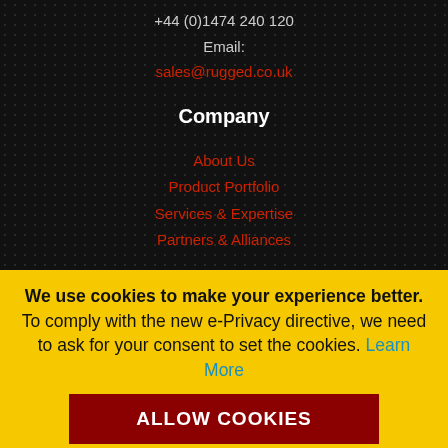+44 (0)1474 240 120
Email:
sales@rugged.co.uk
Company
About Us
Product Portfolio
Services & Expertise
Partners & Alliances
We use cookies to make your experience better. To comply with the new e-Privacy directive, we need to ask for your consent to set the cookies. Learn More
ALLOW COOKIES